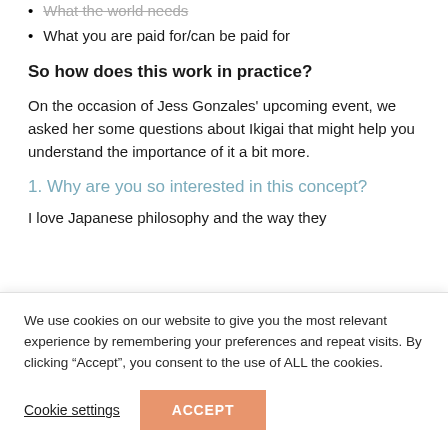What the world needs
What you are paid for/can be paid for
So how does this work in practice?
On the occasion of Jess Gonzales’ upcoming event, we asked her some questions about Ikigai that might help you understand the importance of it a bit more.
1. Why are you so interested in this concept?
I love Japanese philosophy and the way they
We use cookies on our website to give you the most relevant experience by remembering your preferences and repeat visits. By clicking “Accept”, you consent to the use of ALL the cookies.
Cookie settings
ACCEPT